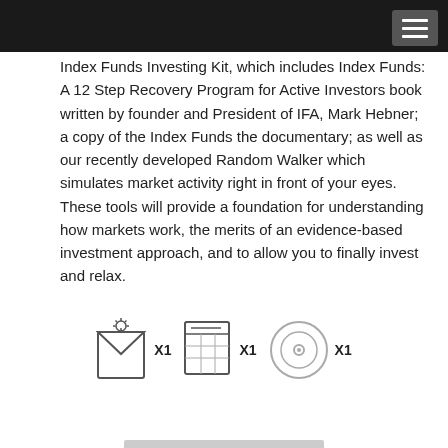Index Funds Investing Kit, which includes Index Funds: A 12 Step Recovery Program for Active Investors book written by founder and President of IFA, Mark Hebner; a copy of the Index Funds the documentary; as well as our recently developed Random Walker which simulates market activity right in front of your eyes. These tools will provide a foundation for understanding how markets work, the merits of an evidence-based investment approach, and to allow you to finally invest and relax.
[Figure (illustration): Three icons in a row: a book/envelope icon labeled X1, a grid/spreadsheet icon labeled X1, and a disc/CD icon labeled X1]